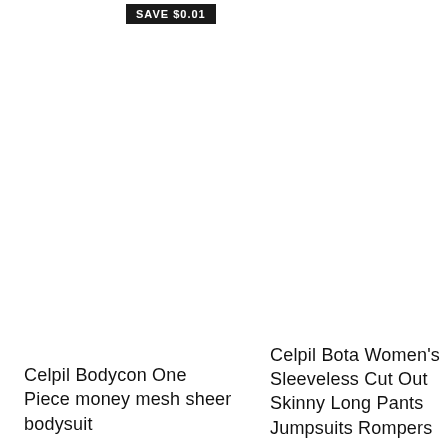SAVE $0.01
Celpil Bodycon One Piece money mesh sheer bodysuit
Celpil Bota Women's Sleeveless Cut Out Skinny Long Pants Jumpsuits Rompers